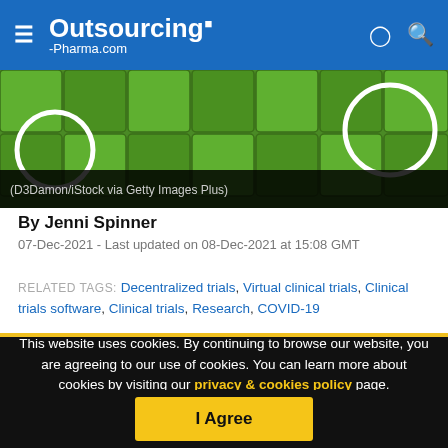Outsourcing-Pharma.com
[Figure (photo): Green pharmaceutical capsules/pills close-up image with white circular shapes overlay, credited to D3Damon/iStock via Getty Images Plus]
(D3Damon/iStock via Getty Images Plus)
By Jenni Spinner
07-Dec-2021 - Last updated on 08-Dec-2021 at 15:08 GMT
RELATED TAGS: Decentralized trials, Virtual clinical trials, Clinical trials software, Clinical trials, Research, COVID-19
This website uses cookies. By continuing to browse our website, you are agreeing to our use of cookies. You can learn more about cookies by visiting our privacy & cookies policy page.